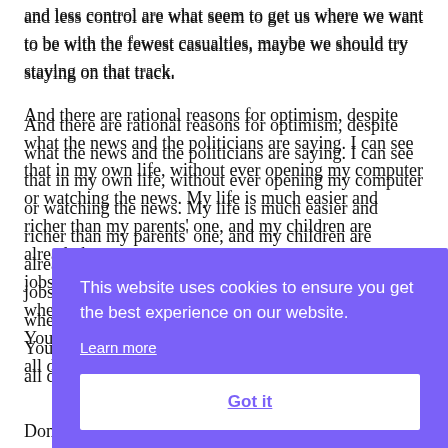and less control are what seem to get us where we want to be with the fewest casualties, maybe we should try staying on that track.
And there are rational reasons for optimism, despite what the news and the politicians are saying. I can see that in my own life, without ever opening my computer or watching the news. My life is much easier and richer than my parents' one, and my children are already better [partially obscured] jobs [partially obscured] whe[partially obscured]
[Figure (screenshot): Cookie consent banner overlay with purple background. Text reads: 'This website uses cookies to ensure you get the best experience on our website.' with a 'Learn more' underlined link and a white 'Got it' button.]
Don't know how to do something? Google it and you'll